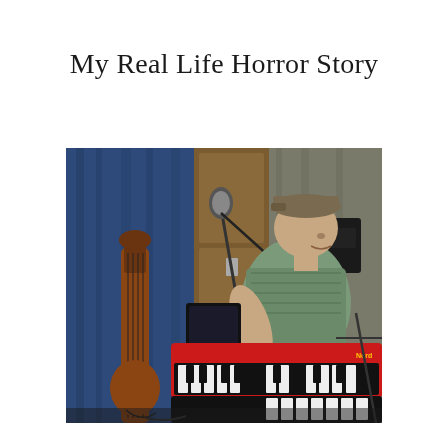My Real Life Horror Story
[Figure (photo): A man wearing a cap sits at a red keyboard/synthesizer (Nord Stage 2) in what appears to be a recording studio or rehearsal space. A microphone on a stand is in front of him, a Roland amplifier is behind him, blue curtains and a wooden door are in the background, and a guitar is leaning against a stand to the left.]